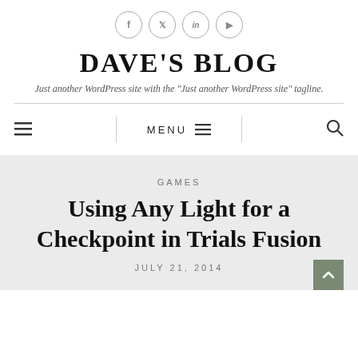[Figure (infographic): Social media icons in circles: Facebook (f), Twitter (bird/t), LinkedIn (in), YouTube (play button)]
DAVE'S BLOG
Just another WordPress site with the 'Just another WordPress site' tagline.
MENU
GAMES
Using Any Light for a Checkpoint in Trials Fusion
JULY 21, 2014